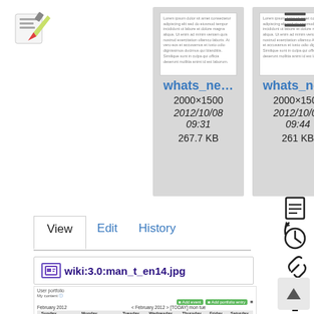[Figure (logo): DokuWiki logo - pencil/document icon with red and green colors]
[Figure (screenshot): Left file card showing whats_ne... image thumbnail, dimensions 2000x1500, date 2012/10/08 09:31, size 267.7 KB]
[Figure (screenshot): Right file card showing whats_ne... image thumbnail, dimensions 2000x1500, date 2012/10/08 09:44, size 261 KB]
[Figure (screenshot): Hamburger menu icon (three horizontal lines) in top right area]
[Figure (screenshot): Right sidebar icons: document, history clock, link, up arrow icons]
[Figure (screenshot): View/Edit/History tab bar with View tab active]
wiki:3.0:man_t_en14.jpg
[Figure (screenshot): Calendar/portfolio area below the wiki link showing February 2012 calendar with days of week]
[Figure (screenshot): Scroll up button (arrow up) in bottom right corner]